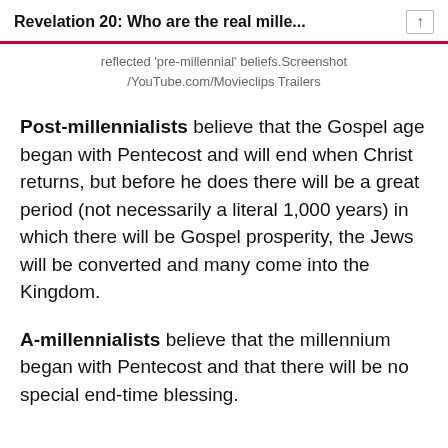Revelation 20: Who are the real mille...
reflected 'pre-millennial' beliefs.Screenshot /YouTube.com/Movieclips Trailers
Post-millennialists believe that the Gospel age began with Pentecost and will end when Christ returns, but before he does there will be a great period (not necessarily a literal 1,000 years) in which there will be Gospel prosperity, the Jews will be converted and many come into the Kingdom.
A-millennialists believe that the millennium began with Pentecost and that there will be no special end-time blessing.